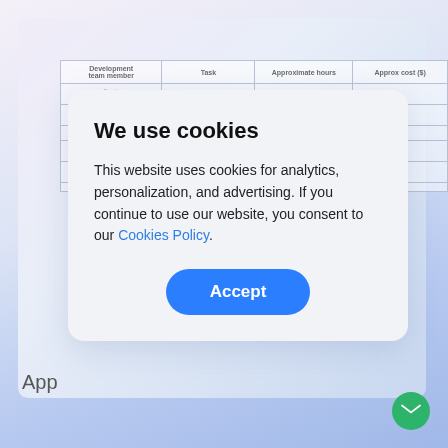[Figure (screenshot): Screenshot of a webpage with a table in the background showing columns: Development team member, Task, Approximate hours, Approx cost ($). A cookie consent modal overlays the table with title 'We use cookies', body text about analytics/personalization/advertising, a Cookies Policy link, and an Accept button. A green email button is visible at bottom right.]
We use cookies
This website uses cookies for analytics, personalization, and advertising. If you continue to use our website, you consent to our Cookies Policy.